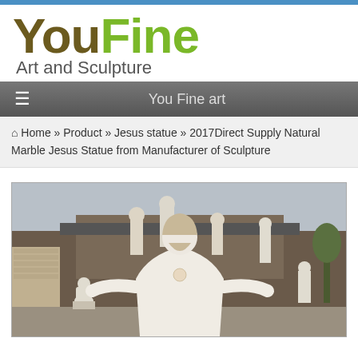YouFine Art and Sculpture
You Fine art
Home » Product » Jesus statue » 2017Direct Supply Natural Marble Jesus Statue from Manufacturer of Sculpture
[Figure (photo): Outdoor sculpture yard showing a large white marble Jesus statue in the foreground with arms outstretched, surrounded by other marble statues including a seated Buddha figure, angels, and classical figures, with a building and trees in the background.]